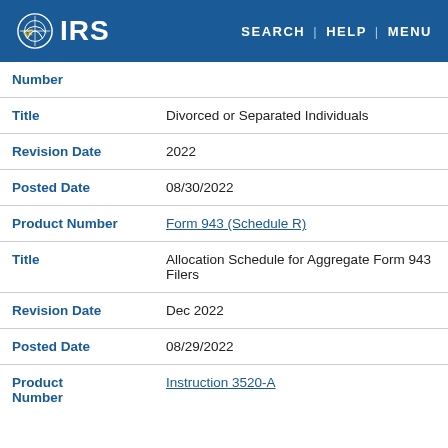IRS | SEARCH | HELP | MENU
| Field | Value |
| --- | --- |
| Number |  |
| Title | Divorced or Separated Individuals |
| Revision Date | 2022 |
| Posted Date | 08/30/2022 |
| Product Number | Form 943 (Schedule R) |
| Title | Allocation Schedule for Aggregate Form 943 Filers |
| Revision Date | Dec 2022 |
| Posted Date | 08/29/2022 |
| Product Number | Instruction 3520-A |